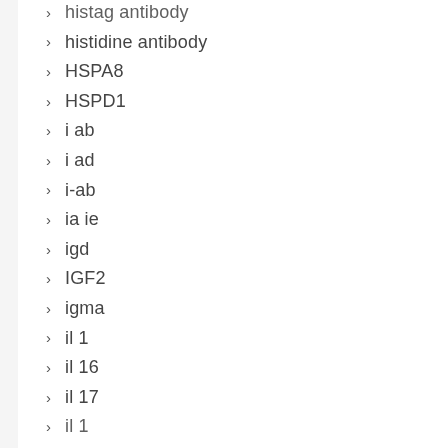histag antibody
histidine antibody
HSPA8
HSPD1
i ab
i ad
i-ab
ia ie
igd
IGF2
igma
il 1
il 16
il 17
il 1